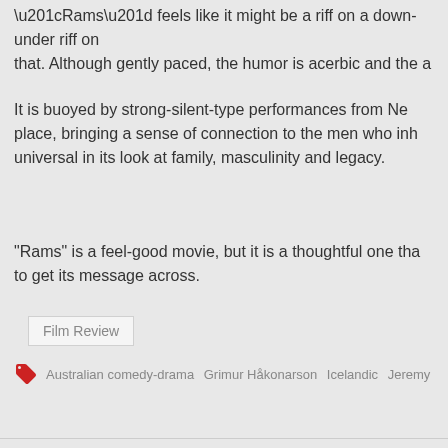“Rams” feels like it might be a riff on a down-under riff on that. Although gently paced, the humor is acerbic and the a
It is buoyed by strong-silent-type performances from Ne place, bringing a sense of connection to the men who inh universal in its look at family, masculinity and legacy.
“Rams” is a feel-good movie, but it is a thoughtful one tha to get its message across.
Film Review
Australian comedy-drama   Grimur Håkonarson   Icelandic   Jeremy Si…
« MALCOLM & MARIE: 3 STARS. “WORKS BEST WHEN IT IS POP LIFE: AN IN DEPTH INT